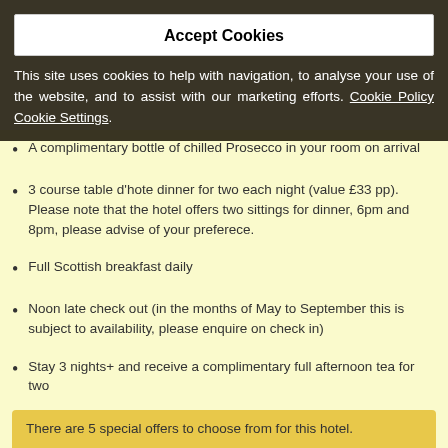Accept Cookies
This site uses cookies to help with navigation, to analyse your use of the website, and to assist with our marketing efforts. Cookie Policy Cookie Settings.
A complimentary bottle of chilled Prosecco in your room on arrival
3 course table d'hote dinner for two each night (value £33 pp). Please note that the hotel offers two sittings for dinner, 6pm and 8pm, please advise of your preferece.
Full Scottish breakfast daily
Noon late check out (in the months of May to September this is subject to availability, please enquire on check in)
Stay 3 nights+ and receive a complimentary full afternoon tea for two
There are 5 special offers to choose from for this hotel. View all offers?